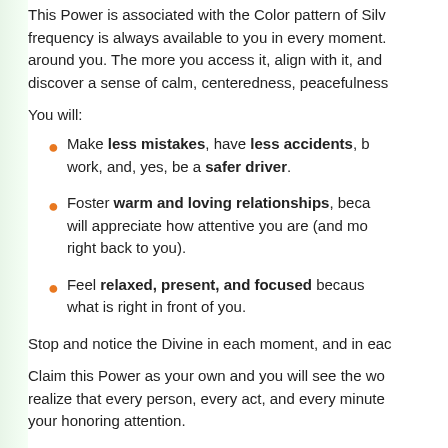This Power is associated with the Color pattern of Silver frequency is always available to you in every moment. around you. The more you access it, align with it, and discover a sense of calm, centeredness, peacefulness
You will:
Make less mistakes, have less accidents, be better at work, and, yes, be a safer driver.
Foster warm and loving relationships, because people will appreciate how attentive you are (and more will reflect right back to you).
Feel relaxed, present, and focused because what is right in front of you.
Stop and notice the Divine in each moment, and in each
Claim this Power as your own and you will see the world realize that every person, every act, and every minute your honoring attention.